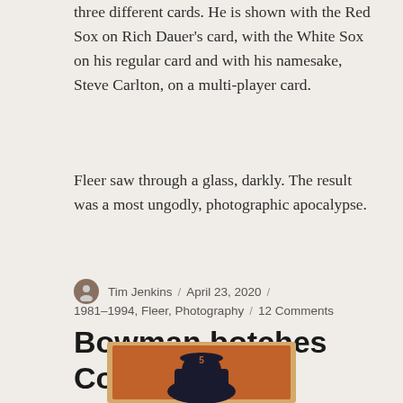three different cards. He is shown with the Red Sox on Rich Dauer's card, with the White Sox on his regular card and with his namesake, Steve Carlton, on a multi-player card.
Fleer saw through a glass, darkly. The result was a most ungodly, photographic apocalypse.
Tim Jenkins / April 23, 2020 / 1981–1994, Fleer, Photography / 12 Comments
Bowman botches Coast League foray
[Figure (photo): A baseball card with an orange background showing a player wearing a cap with the number 5.]